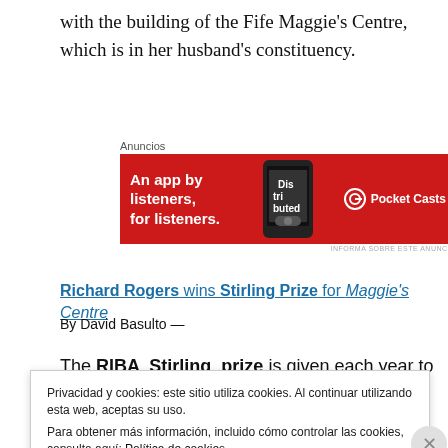with the building of the Fife Maggie's Centre, which is in her husband's constituency.
[Figure (other): Advertisement banner for Pocket Casts app: red background with text 'An app by listeners, for listeners.' and Pocket Casts logo with phone image showing 'Distributed']
Richard Rogers wins Stirling Prize for Maggie's Centre
By David Basulto —
The RIBA Stirling prize is given each year to one
Privacidad y cookies: este sitio utiliza cookies. Al continuar utilizando esta web, aceptas su uso.
Para obtener más información, incluido cómo controlar las cookies, consulta aquí: Política de cookies
Cerrar y aceptar